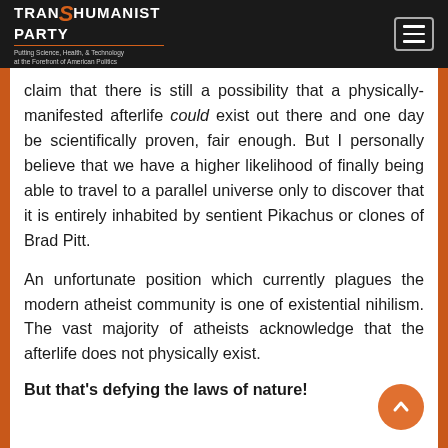Transhumanist Party — Putting Science, Health, & Technology at the Forefront of American Politics
claim that there is still a possibility that a physically-manifested afterlife could exist out there and one day be scientifically proven, fair enough. But I personally believe that we have a higher likelihood of finally being able to travel to a parallel universe only to discover that it is entirely inhabited by sentient Pikachus or clones of Brad Pitt.

An unfortunate position which currently plagues the modern atheist community is one of existential nihilism. The vast majority of atheists acknowledge that the afterlife does not physically exist.
But that's defying the laws of nature!